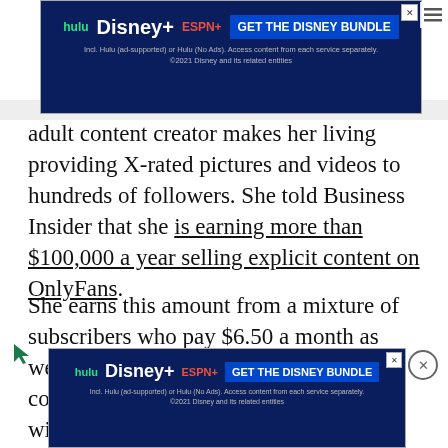[Figure (screenshot): Disney Bundle advertisement banner at top: dark blue background with Hulu, Disney+, ESPN+ logos and 'GET THE DISNEY BUNDLE' button, fine print about Hulu and Disney.]
adult content creator makes her living providing X-rated pictures and videos to hundreds of followers. She told Business Insider that she is earning more than $100,000 a year selling explicit content on OnlyFans.
She earns this amount from a mixture of subscribers who pay $6.50 a month as well as larger fees for pay-per-view and commissioned work. Huldt starts the day with a 'good morning' picture and answering messages and finishes it by checking in again with fans. Everything in between – from her daily workout to producing content based on
[Figure (screenshot): Disney Bundle advertisement banner at bottom: dark blue background with Hulu, Disney+, ESPN+ logos and 'GET THE DISNEY BUNDLE' button, fine print about Hulu and Disney.]